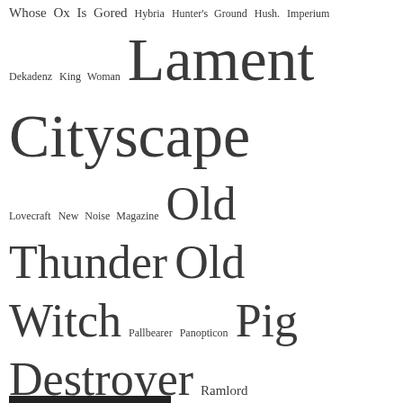[Figure (infographic): Tag cloud of band/artist names in varying font sizes indicating popularity or frequency. Names include: Whose Ox Is Gored, Hybria, Hunter's Ground, Hush, Imperium, Dekadenz, King Woman, Lament Cityscape, Lovecraft, New Noise Magazine, Old Thunder, Old Witch, Pallbearer, Panopticon, Pig Destroyer, Ramlord, Sacral Rage, Scion A/V, Seven Kingdoms, Skullshitter, Stereo Nasty, The Great Old Ones, Trenchgrinder, Twilight Fauna, Unleash the Archers, Vattnet Viskar, Vile Creature, Vilkacis, Violet Cold, Visigoth, Void Ritual, War Elephant, Winterfylleth, Woe, Yellow Eyes, Yeti On Horseback]